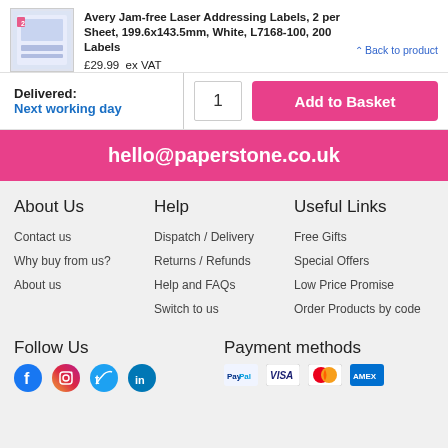Avery Jam-free Laser Addressing Labels, 2 per Sheet, 199.6x143.5mm, White, L7168-100, 200 Labels
£29.99  ex VAT
Back to product
Delivered:
Next working day
1  Add to Basket
hello@paperstone.co.uk
About Us
Help
Useful Links
Contact us
Why buy from us?
About us
Dispatch / Delivery
Returns / Refunds
Help and FAQs
Switch to us
Free Gifts
Special Offers
Low Price Promise
Order Products by code
Follow Us
Payment methods
[Figure (logo): Social media icons: Facebook, Instagram, Twitter/X, LinkedIn]
[Figure (logo): Payment method icons: PayPal, VISA, Mastercard, and another card]